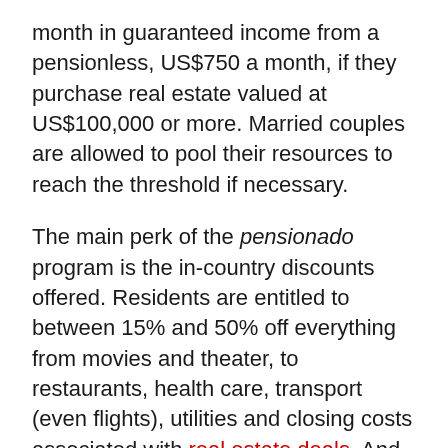month in guaranteed income from a pension-less, US$750 a month, if they purchase real estate valued at US$100,000 or more. Married couples are allowed to pool their resources to reach the threshold if necessary.
The main perk of the pensionado program is the in-country discounts offered. Residents are entitled to between 15% and 50% off everything from movies and theater, to restaurants, health care, transport (even flights), utilities and closing costs associated with real estate deals. And you'll still get the pensionado discounts even without the pensionado visa once you reach the required age (55 for women and 60 for men). Pensionado-holders are also allowed to import up to US$10,000 worth of household goods and [text continues]